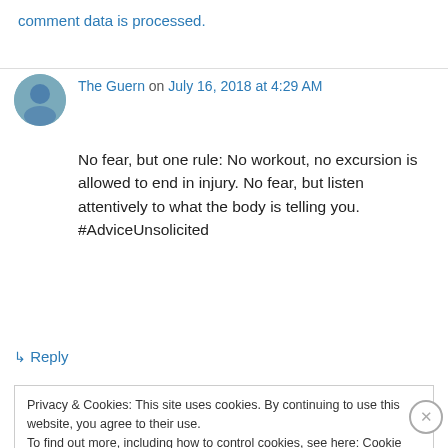comment data is processed.
The Guern on July 16, 2018 at 4:29 AM
No fear, but one rule: No workout, no excursion is allowed to end in injury. No fear, but listen attentively to what the body is telling you. #AdviceUnsolicited
↳ Reply
Privacy & Cookies: This site uses cookies. By continuing to use this website, you agree to their use.
To find out more, including how to control cookies, see here: Cookie Policy